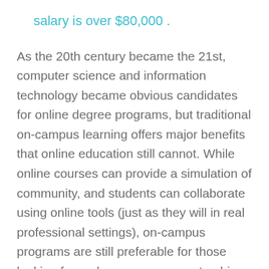salary is over $80,000 .
As the 20th century became the 21st, computer science and information technology became obvious candidates for online degree programs, but traditional on-campus learning offers major benefits that online education still cannot. While online courses can provide a simulation of community, and students can collaborate using online tools (just as they will in real professional settings), on-campus programs are still preferable for those looking for real, one-on-one mentorship. Traditional programs also provide stronger networking opportunities like internships, workshops, and conferences. That’s why Bachelor’s Degree Center is ranking the 25 Best Bachelor’s in Information Technology Degree Programs.